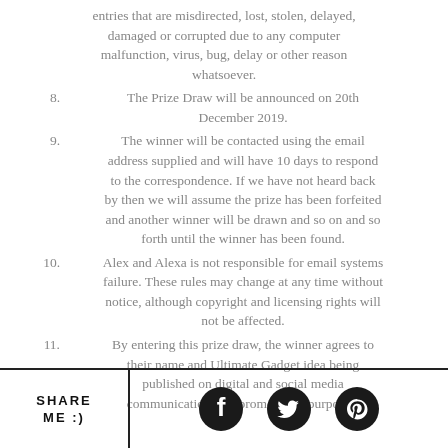entries that are misdirected, lost, stolen, delayed, damaged or corrupted due to any computer malfunction, virus, bug, delay or other reason whatsoever.
8. The Prize Draw will be announced on 20th December 2019.
9. The winner will be contacted using the email address supplied and will have 10 days to respond to the correspondence. If we have not heard back by then we will assume the prize has been forfeited and another winner will be drawn and so on and so forth until the winner has been found.
10. Alex and Alexa is not responsible for email systems failure. These rules may change at any time without notice, although copyright and licensing rights will not be affected.
11. By entering this prize draw, the winner agrees to their name and Ultimate Gadget idea being published on digital and social media communications for promotional purposes.
SHARE ME :)